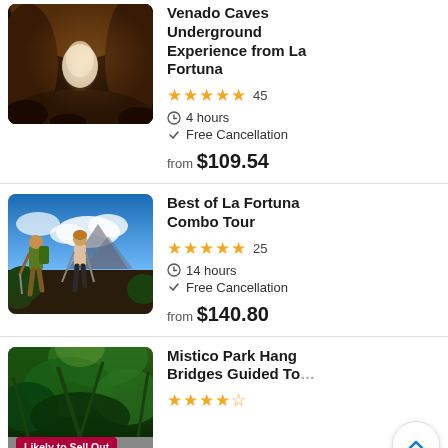[Figure (photo): Illuminated underground cave with rocky walls and a glowing passage]
Venado Caves Underground Experience from La Fortuna
★★★★★ 45
4 hours
Free Cancellation
from $109.54
[Figure (photo): Two hikers with trekking poles on a mountain trail with volcanic summit in background]
Best of La Fortuna Combo Tour
★★★★★ 25
14 hours
Free Cancellation
from $140.80
[Figure (photo): Rainforest canopy walkway, lush green tropical trees]
Mistico Park Hanging Bridges Guided Tour
Likely to Sell Out